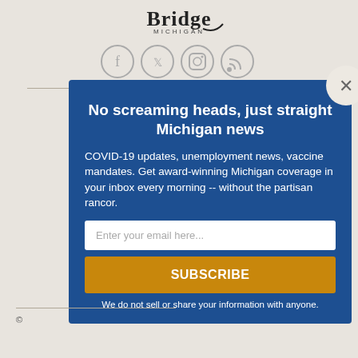[Figure (logo): Bridge Michigan logo at top center]
[Figure (illustration): Social media icons: Facebook, Twitter, Instagram, RSS]
Home
[Figure (screenshot): Modal popup with dark blue background. Title: No screaming heads, just straight Michigan news. Body: COVID-19 updates, unemployment news, vaccine mandates. Get award-winning Michigan coverage in your inbox every morning -- without the partisan rancor. Email input field: Enter your email here... Subscribe button. Footer: We do not sell or share your information with anyone.]
©